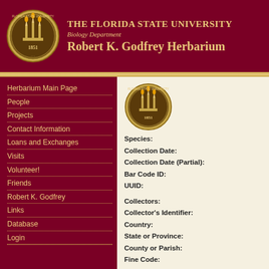[Figure (logo): Florida State University seal in header]
THE FLORIDA STATE UNIVERSITY Biology Department Robert K. Godfrey Herbarium
Herbarium Main Page
People
Projects
Contact Information
Loans and Exchanges
Visits
Volunteer!
Friends
Robert K. Godfrey
Links
Database
Login
[Figure (logo): Florida State University seal in content panel]
Species:
Collection Date:
Collection Date (Partial):
Bar Code ID:
UUID:

Collectors:
Collector's Identifier:
Country:
State or Province:
County or Parish:
Fine Code: